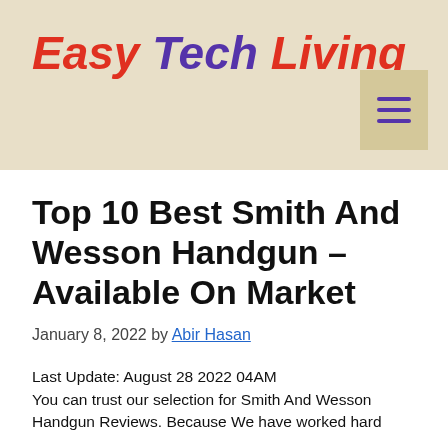Easy Tech Living
Top 10 Best Smith And Wesson Handgun – Available On Market
January 8, 2022 by Abir Hasan
Last Update: August 28 2022 04AM
You can trust our selection for Smith And Wesson Handgun Reviews. Because We have worked hard